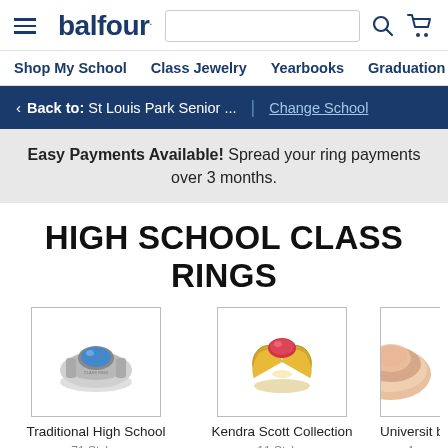[Figure (logo): Balfour logo with hamburger menu, search bar, search icon, and cart icon in website header]
Shop My School   Class Jewelry   Yearbooks   Graduation   Sc
< Back to: St Louis Park Senior ...  |  Change School
Easy Payments Available! Spread your ring payments over 3 months.
HIGH SCHOOL CLASS RINGS
[Figure (photo): Traditional High School class ring with blue stone in silver setting]
Traditional High School
71 Styles
[Figure (photo): Kendra Scott Collection class ring with red/pink stone in gold setting]
Kendra Scott Collection
11 Styles
[Figure (photo): University by Balfour ring partially visible on right edge]
Universit by B
4